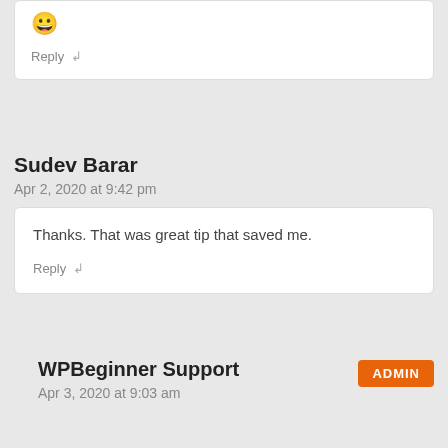😀
Reply ↲
Sudev Barar
Apr 2, 2020 at 9:42 pm
Thanks. That was great tip that saved me.
Reply ↲
WPBeginner Support
ADMIN
Apr 3, 2020 at 9:03 am